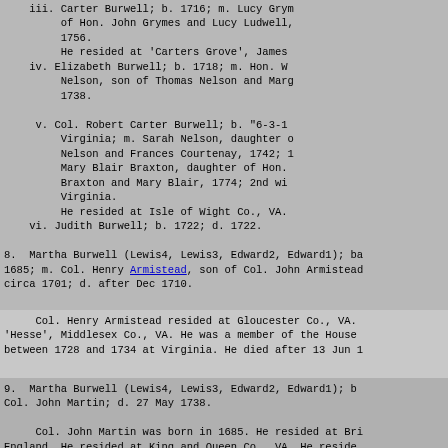iii. Carter Burwell; b. 1716; m. Lucy Grym of Hon. John Grymes and Lucy Ludwell, 1756.
     He resided at 'Carters Grove', James
iv. Elizabeth Burwell; b. 1718; m. Hon. W Nelson, son of Thomas Nelson and Marg 1738.
v. Col. Robert Carter Burwell; b. "6-3-1 Virginia; m. Sarah Nelson, daughter o Nelson and Frances Courtenay, 1742; 1 Mary Blair Braxton, daughter of Hon. Braxton and Mary Blair, 1774; 2nd wi Virginia.
   He resided at Isle of Wight Co., VA.
vi. Judith Burwell; b. 1722; d. 1722.
8.  Martha Burwell (Lewis4, Lewis3, Edward2, Edward1); ba 1685; m. Col. Henry Armistead, son of Col. John Armistead circa 1701; d. after Dec 1710.
Col. Henry Armistead resided at Gloucester Co., VA. 'Hesse', Middlesex Co., VA. He was a member of the House between 1728 and 1734 at Virginia. He died after 13 Jun 1
9.  Martha Burwell (Lewis4, Lewis3, Edward2, Edward1); b Col. John Martin; d. 27 May 1738.
Col. John Martin was born in 1685. He resided at Bri England. He resided at King and Queen Co., VA. He reside 'Clifton', Carolina Co., VA. He was a member of the H